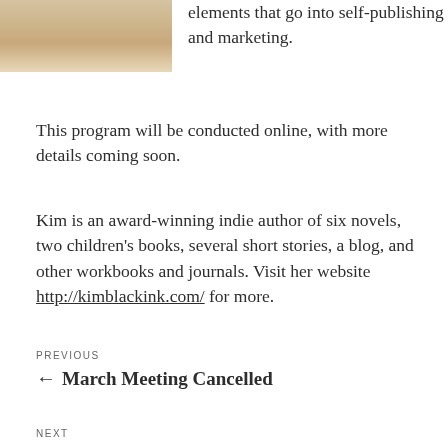[Figure (photo): Partial photo of a woman with blonde hair, cropped at top of page]
elements that go into self-publishing and marketing.
This program will be conducted online, with more details coming soon.
Kim is an award-winning indie author of six novels, two children's books, several short stories, a blog, and other workbooks and journals. Visit her website http://kimblackink.com/ for more.
PREVIOUS
← March Meeting Cancelled
NEXT